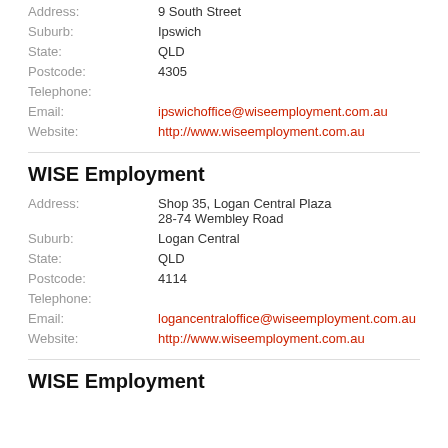Address: 9 South Street
Suburb: Ipswich
State: QLD
Postcode: 4305
Telephone:
Email: ipswichoffice@wiseemployment.com.au
Website: http://www.wiseemployment.com.au
WISE Employment
Address: Shop 35, Logan Central Plaza 28-74 Wembley Road
Suburb: Logan Central
State: QLD
Postcode: 4114
Telephone:
Email: logancentraloffice@wiseemployment.com.au
Website: http://www.wiseemployment.com.au
WISE Employment